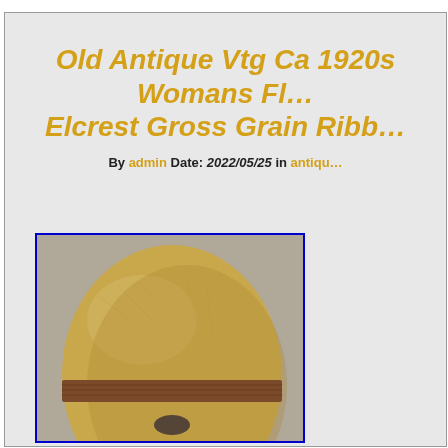Old Antique Vtg Ca 1920s Womans Fl… Elcrest Gross Grain Ribb…
By admin Date: 2022/05/25 in antiqu…
[Figure (photo): Close-up photograph of a vintage 1920s women's hat, yellow/golden color with a brown grosgrain ribbon band around it, viewed from above at an angle.]